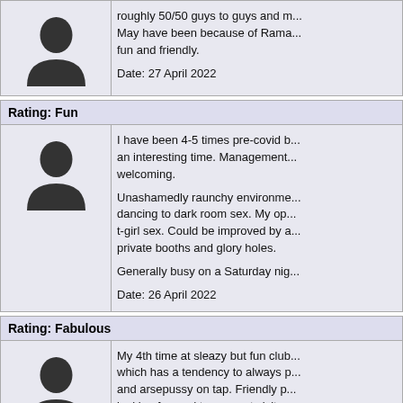roughly 50/50 guys to guys and ... May have been because of Rama... fun and friendly.

Date: 27 April 2022
Rating: Fun
I have been 4-5 times pre-covid b... an interesting time. Management... welcoming.

Unashamedly raunchy environme... dancing to dark room sex. My op... t-girl sex. Could be improved by a... private booths and glory holes.

Generally busy on a Saturday nig...

Date: 26 April 2022
Rating: Fabulous
My 4th time at sleazy but fun club... which has a tendency to always p... and arsepussy on tap. Friendly p... looking forward to my next visit s... (10pm) today due to unable to fin... B&B nearby, otherwise would've... 02:30am as usual.

Date: 17 April 2022
Rating: Fabulous